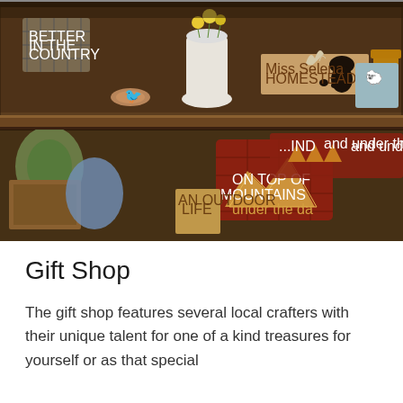[Figure (photo): A gift shop display shelf filled with rustic, country-themed decorative items including wooden signs, pillows, candles, figurines, baskets, and nature/camping themed merchandise. Items include signs reading 'and under the stars', 'ON TOP OF MOUNTAINS under the da', 'Welcome', 'AN OUTDOOR LIFE', bear cutouts, antler decorations, and various handcrafted goods displayed on dark wood shelving.]
Gift Shop
The gift shop features several local crafters with their unique talent for one of a kind treasures for yourself or as that special